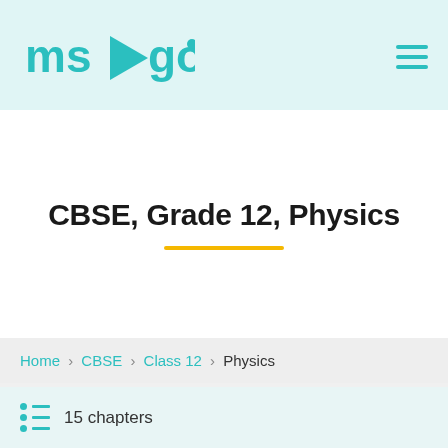msvgo
CBSE, Grade 12, Physics
Home › CBSE › Class 12 › Physics
15 chapters